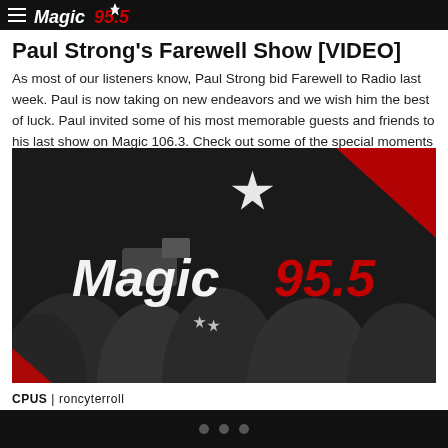Magic 95.5
Paul Strong's Farewell Show [VIDEO]
As most of our listeners know, Paul Strong bid Farewell to Radio last week. Paul is now taking on new endeavors and we wish him the best of luck. Paul invited some of his most memorable guests and friends to his last show on Magic 106.3. Check out some of the special moments he shared […]
[Figure (photo): Black and white photo of a crowd with the Magic 95.5 radio station logo overlaid in white script text with red numbers 95.5 and a red triangle in the upper right corner]
CPUS | roncyterroll
• • •